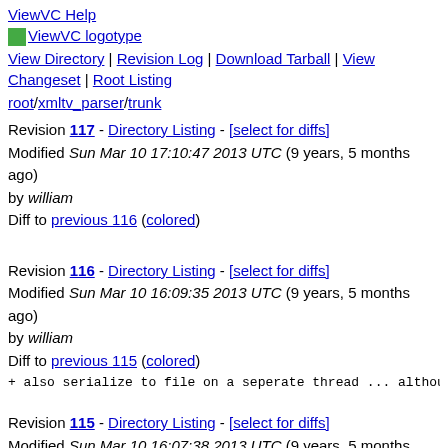ViewVC Help
[Figure (logo): ViewVC logotype small icon]
View Directory | Revision Log | Download Tarball | View Changeset | Root Listing
root/xmltv_parser/trunk
Revision 117 - Directory Listing - [select for diffs]
Modified Sun Mar 10 17:10:47 2013 UTC (9 years, 5 months ago) by william
Diff to previous 116 (colored)
Revision 116 - Directory Listing - [select for diffs]
Modified Sun Mar 10 16:09:35 2013 UTC (9 years, 5 months ago) by william
Diff to previous 115 (colored)
+ also serialize to file on a seperate thread ... althoug
Revision 115 - Directory Listing - [select for diffs]
Modified Sun Mar 10 16:07:38 2013 UTC (9 years, 5 months ago) by william
Diff to previous 114 (colored)
+ deserialize data on a seperate thread, so we don't blo